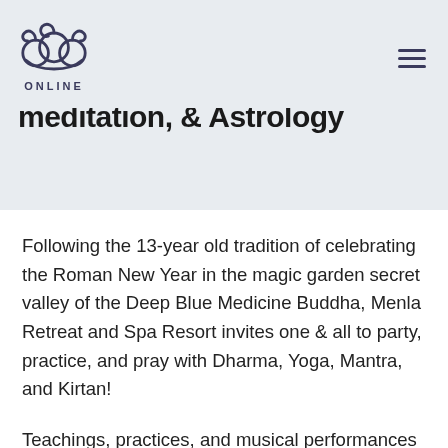ONLINE [logo]
meditation, & Astrology
Following the 13-year old tradition of celebrating the Roman New Year in the magic garden secret valley of the Deep Blue Medicine Buddha, Menla Retreat and Spa Resort invites one & all to party, practice, and pray with Dharma, Yoga, Mantra, and Kirtan!
Teachings, practices, and musical performances with a stellar lineup:
Dr. Nida, Yangchen Lhamo, Simit, Jai…